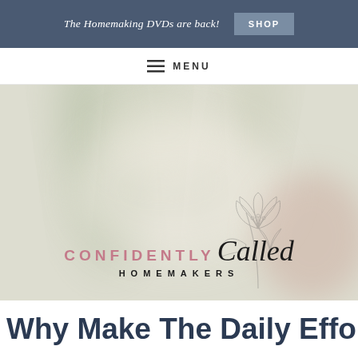The Homemaking DVDs are back! SHOP
≡ MENU
[Figure (logo): Confidently Called Homemakers logo with floral illustration on a soft muted green and blush background]
Why Make The Daily Effort